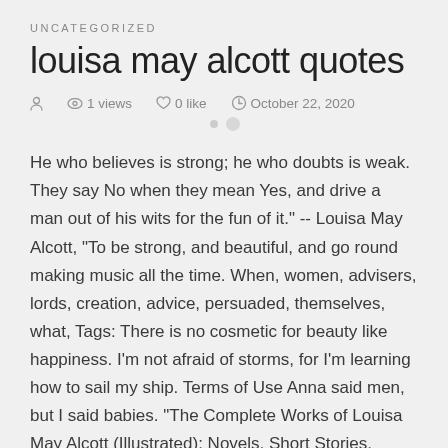UNCATEGORIZED
louisa may alcott quotes
1 views   0 like   October 22, 2020
He who believes is strong; he who doubts is weak. They say No when they mean Yes, and drive a man out of his wits for the fun of it." -- Louisa May Alcott, "To be strong, and beautiful, and go round making music all the time. When, women, advisers, lords, creation, advice, persuaded, themselves, what, Tags: There is no cosmetic for beauty like happiness. I'm not afraid of storms, for I'm learning how to sail my ship. Terms of Use Anna said men, but I said babies. "The Complete Works of Louisa May Alcott (Illustrated): Novels, Short Stories, Plays & Poems: Little Women, Good Women, Little Men, Jo's Boys, An Old-Fashioned Girl, and more"